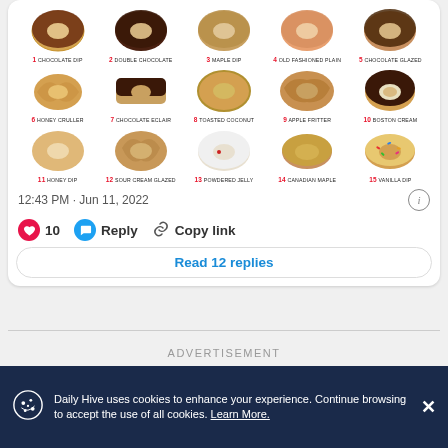[Figure (photo): Grid of 15 Dunkin' Donuts varieties with numbered labels: 1 Chocolate Dip, 2 Double Chocolate, 3 Maple Dip, 4 Old Fashioned Plain, 5 Chocolate Glazed, 6 Honey Cruller, 7 Chocolate Eclair, 8 Toasted Coconut, 9 Apple Fritter, 10 Boston Cream, 11 Honey Dip, 12 Sour Cream Glazed, 13 Powdered Jelly, 14 Canadian Maple, 15 Vanilla Dip]
12:43 PM · Jun 11, 2022
10  Reply  Copy link
Read 12 replies
ADVERTISEMENT
Daily Hive uses cookies to enhance your experience. Continue browsing to accept the use of all cookies. Learn More.